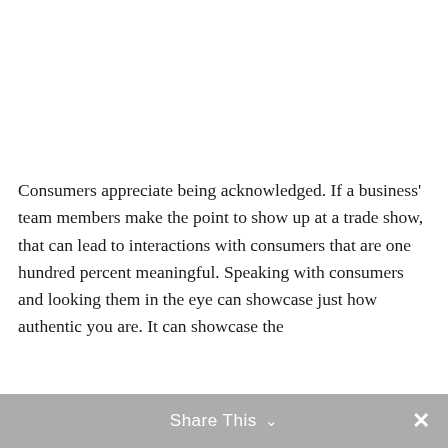Consumers appreciate being acknowledged. If a business' team members make the point to show up at a trade show, that can lead to interactions with consumers that are one hundred percent meaningful. Speaking with consumers and looking them in the eye can showcase just how authentic you are. It can showcase the
Share This ∨  ✕